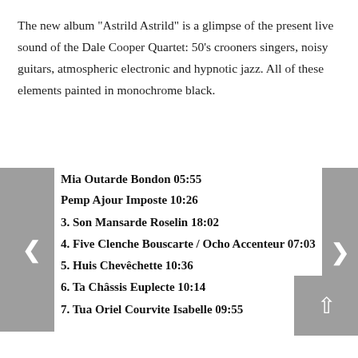The new album "Astrild Astrild" is a glimpse of the present live sound of the Dale Cooper Quartet: 50's crooners singers, noisy guitars, atmospheric electronic and hypnotic jazz. All of these elements painted in monochrome black.
Mia Outarde Bondon 05:55
Pemp Ajour Imposte 10:26
3. Son Mansarde Roselin 18:02
4. Five Clenche Bouscarte / Ocho Accenteur 07:03
5. Huis Chevêchette 10:36
6. Ta Châssis Euplecte 10:14
7. Tua Oriel Courvite Isabelle 09:55